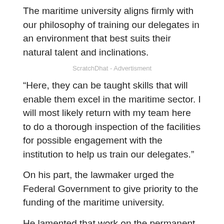The maritime university aligns firmly with our philosophy of training our delegates in an environment that best suits their natural talent and inclinations.
ScratchDhat - Advertisment
“Here, they can be taught skills that will enable them excel in the maritime sector. I will most likely return with my team here to do a thorough inspection of the facilities for possible engagement with the institution to help us train our delegates.”
On his part, the lawmaker urged the Federal Government to give priority to the funding of the maritime university.
He lamented that work on the permanent site had stopped and contractors had since abandoned the place due to lack of funds.